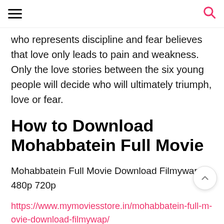☰ [hamburger menu] [search icon]
who represents discipline and fear believes that love only leads to pain and weakness. Only the love stories between the six young people will decide who will ultimately triumph, love or fear.
How to Download Mohabbatein Full Movie
Mohabbatein Full Movie Download Filmywap 480p 720p
https://www.mymoviesstore.in/mohabbatein-full-movie-download-filmywap/
Related Searches: